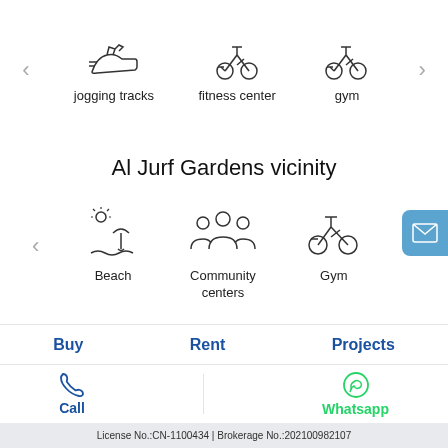[Figure (illustration): Three icons: jogging shoe, stationary bike (fitness center), exercise bike (gym) with left/right carousel arrows. Labels: jogging tracks, fitness center, gym]
Al Jurf Gardens vicinity
[Figure (illustration): Three icons: beach/umbrella, community group (community centers), exercise bike (Gym) with left/right carousel arrows. A blue mail button on right.]
Al Jurf Gardens FAQs
Buy
Rent
Projects
Call
Whatsapp
License No.:CN-1100434 | Brokerage No.:202100982107